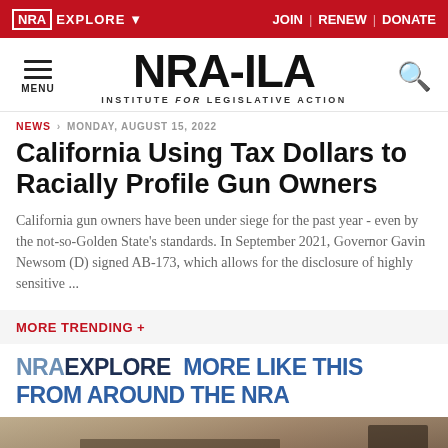NRA EXPLORE ▾  JOIN | RENEW | DONATE
NRA-ILA INSTITUTE for LEGISLATIVE ACTION
NEWS  MONDAY, AUGUST 15, 2022
California Using Tax Dollars to Racially Profile Gun Owners
California gun owners have been under siege for the past year - even by the not-so-Golden State's standards. In September 2021, Governor Gavin Newsom (D) signed AB-173, which allows for the disclosure of highly sensitive ...
MORE TRENDING +
NRAEXPLORE MORE LIKE THIS FROM AROUND THE NRA
[Figure (photo): Partial view of a person on a motorcycle or similar vehicle in a dusty/outdoor setting]